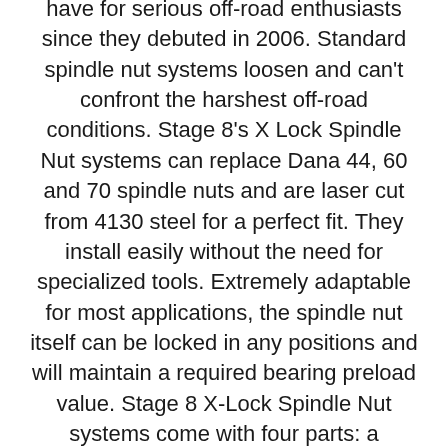have for serious off-road enthusiasts since they debuted in 2006. Standard spindle nut systems loosen and can't confront the harshest off-road conditions. Stage 8's X Lock Spindle Nut systems can replace Dana 44, 60 and 70 spindle nuts and are laser cut from 4130 steel for a perfect fit. They install easily without the need for specialized tools. Extremely adaptable for most applications, the spindle nut itself can be locked in any positions and will maintain a required bearing preload value. Stage 8 X-Lock Spindle Nut systems come with four parts: a specialized bearing washer, the spindle nut (which can be set to an individual pre-load value), a notched washer (which has an inside tab that fixes its position in relation to the locating groove in the spindle), a locking retainer and a heavy spring steel snap ring. Additionally, the assembly is available in a